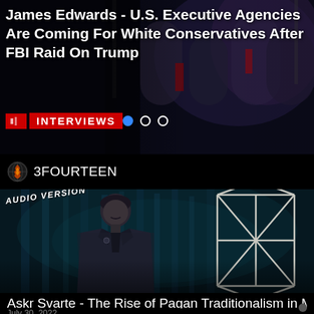[Figure (screenshot): Dark banner with political figures in background, showing article thumbnail for James Edwards interview about U.S. Executive Agencies and White Conservatives after FBI Raid on Trump. Shows 'INTERVIEWS' label with navigation dots.]
James Edwards - U.S. Executive Agencies Are Coming For White Conservatives After FBI Raid On Trump
INTERVIEWS
[Figure (screenshot): Dark forest thumbnail image with a man in suit and a geometric rune symbol on the right, labeled AUDIO VERSION]
3FOURTEEN
Askr Svarte - The Rise of Pagan Traditionalism in Modern Times
July 30, 2022